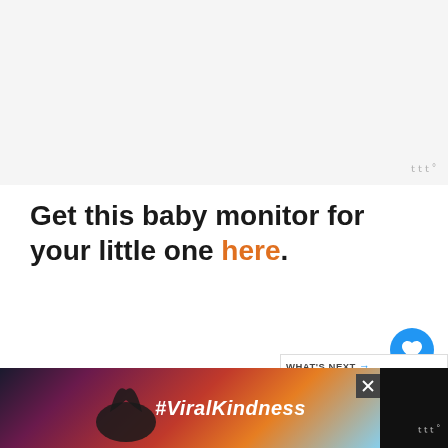[Figure (photo): Top image area placeholder, light gray background]
Get this baby monitor for your little one here.
[Figure (infographic): Like button (blue circle with heart icon) showing count of 1, and share button below]
4. Wireless Video Color Baby Monitor
[Figure (screenshot): WHAT'S NEXT panel with thumbnail and text: Is Singapore Cheap 2022]
[Figure (photo): Bottom advertisement banner showing #ViralKindness with hands forming heart shape, dark background, with close button and watermark]